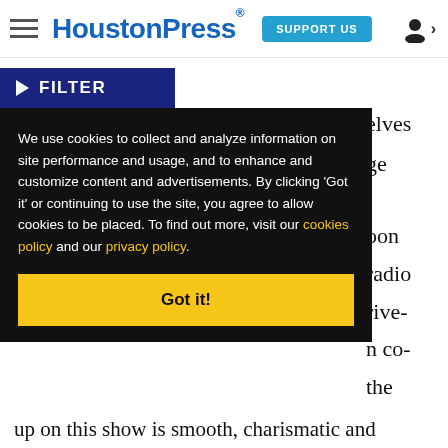HoustonPress — SUPPORT US
▶ FILTER
We use cookies to collect and analyze information on site performance and usage, and to enhance and customize content and advertisements. By clicking 'Got it' or continuing to use the site, you agree to allow cookies to be placed. To find out more, visit our cookies policy and our privacy policy.
Got it!
up on this show is smooth, charismatic and